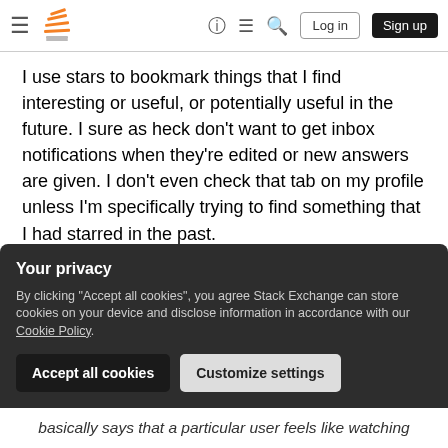Stack Exchange navigation bar with hamburger, logo, help, chat, search icons, Log in and Sign up buttons
I use stars to bookmark things that I find interesting or useful, or potentially useful in the future. I sure as heck don't want to get inbox notifications when they're edited or new answers are given. I don't even check that tab on my profile unless I'm specifically trying to find something that I had starred in the past.
I find it hard to believe that 19 out of 22 people (the current up/down votes on this question) want inbox notifications on questions that they starred.
Your privacy
By clicking "Accept all cookies", you agree Stack Exchange can store cookies on your device and disclose information in accordance with our Cookie Policy.
Accept all cookies
Customize settings
basically says that a particular user feels like watching